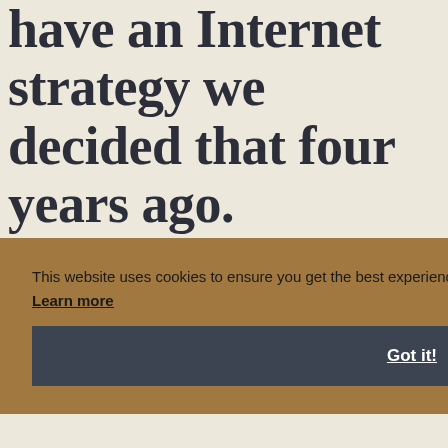have an Internet strategy we decided that four years ago.
This website uses cookies to ensure you get the best experience on our website. Learn more
Got it!